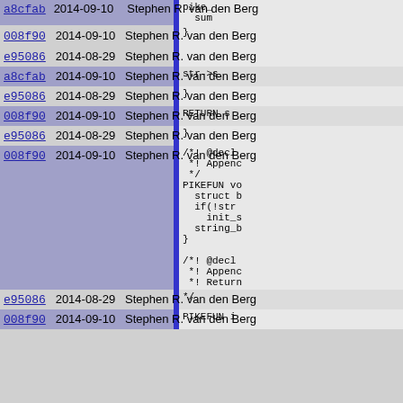| commit | date | author | code |
| --- | --- | --- | --- |
| a8cfab | 2014-09-10 | Stephen R. van den Berg | pike_
sum |
| 008f90 | 2014-09-10 | Stephen R. van den Berg | } |
| e95086 | 2014-08-29 | Stephen R. van den Berg |  |
| a8cfab | 2014-09-10 | Stephen R. van den Berg | str->s |
| e95086 | 2014-08-29 | Stephen R. van den Berg | } |
| 008f90 | 2014-09-10 | Stephen R. van den Berg | RETURN s |
| e95086 | 2014-08-29 | Stephen R. van den Berg | } |
| 008f90 | 2014-09-10 | Stephen R. van den Berg | /*! @decl
 *! Appenc
 */
PIKEFUN vo
  struct b
  if(!str
    init_s
  string_b
}

/*! @decl
 *! Appenc
 *! Return |
| e95086 | 2014-08-29 | Stephen R. van den Berg | */ |
| 008f90 | 2014-09-10 | Stephen R. van den Berg | PIKEFUN i |